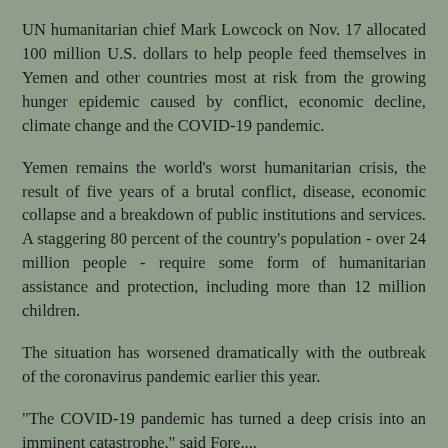UN humanitarian chief Mark Lowcock on Nov. 17 allocated 100 million U.S. dollars to help people feed themselves in Yemen and other countries most at risk from the growing hunger epidemic caused by conflict, economic decline, climate change and the COVID-19 pandemic.
Yemen remains the world's worst humanitarian crisis, the result of five years of a brutal conflict, disease, economic collapse and a breakdown of public institutions and services. A staggering 80 percent of the country's population - over 24 million people - require some form of humanitarian assistance and protection, including more than 12 million children.
The situation has worsened dramatically with the outbreak of the coronavirus pandemic earlier this year.
"The COVID-19 pandemic has turned a deep crisis into an imminent catastrophe," said Fore....
Reply